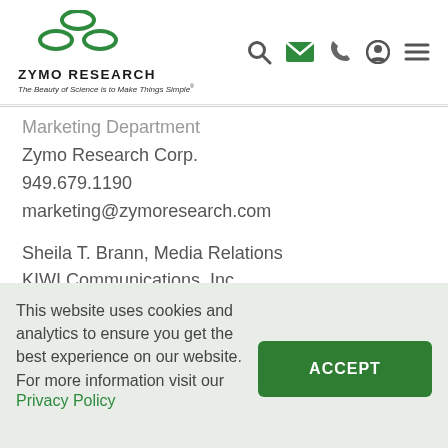Zymo Research — The Beauty of Science is to Make Things Simple
Marketing Department
Zymo Research Corp.
949.679.1190
marketing@zymoresearch.com
Sheila T. Brann, Media Relations
KIWI Communications, Inc.
714.979.3464
sbrann@kiwi-comm.com
This website uses cookies and analytics to ensure you get the best experience on our website. For more information visit our Privacy Policy